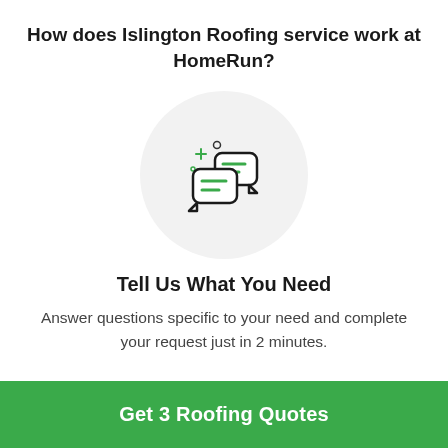How does Islington Roofing service work at HomeRun?
[Figure (illustration): A circular light grey icon with two overlapping speech/chat bubbles containing green horizontal lines, with small sparkle and circle decorative elements around them.]
Tell Us What You Need
Answer questions specific to your need and complete your request just in 2 minutes.
Get 3 Roofing Quotes